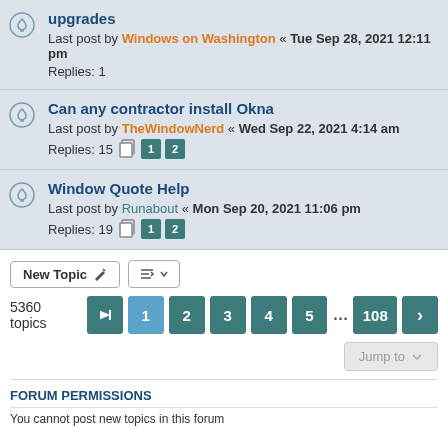upgrades — Last post by Windows on Washington « Tue Sep 28, 2021 12:11 pm — Replies: 1
Can any contractor install Okna — Last post by TheWindowNerd « Wed Sep 22, 2021 4:14 am — Replies: 15
Window Quote Help — Last post by Runabout « Mon Sep 20, 2021 11:06 pm — Replies: 19
5360 topics
FORUM PERMISSIONS
You cannot post new topics in this forum